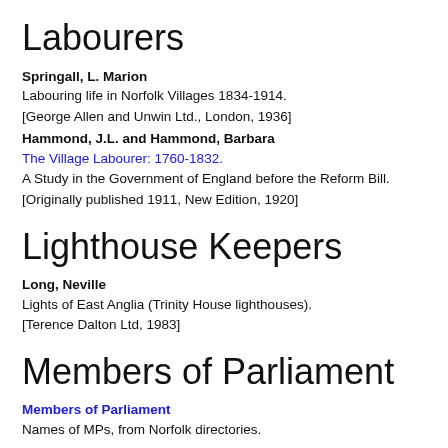Labourers
Springall, L. Marion
Labouring life in Norfolk Villages 1834-1914.
[George Allen and Unwin Ltd., London, 1936]
Hammond, J.L. and Hammond, Barbara
The Village Labourer: 1760-1832.
A Study in the Government of England before the Reform Bill.
[Originally published 1911, New Edition, 1920]
Lighthouse Keepers
Long, Neville
Lights of East Anglia (Trinity House lighthouses).
[Terence Dalton Ltd, 1983]
Members of Parliament
Members of Parliament
Names of MPs, from Norfolk directories.